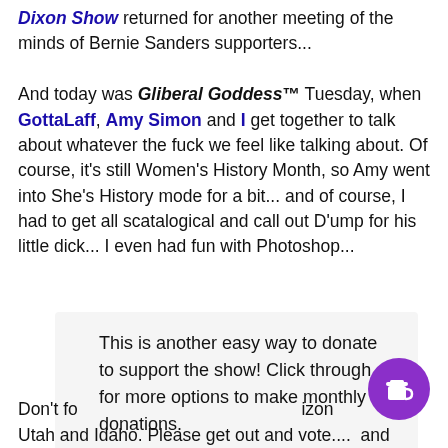Dixon Show returned for another meeting of the minds of Bernie Sanders supporters...
And today was Gliberal Goddess™ Tuesday, when GottaLaff, Amy Simon and I get together to talk about whatever the fuck we feel like talking about. Of course, it's still Women's History Month, so Amy went into She's History mode for a bit... and of course, I had to get all scatalogical and call out D'ump for his little dick... I even had fun with Photoshop...
This is another easy way to donate to support the show! Click through for more options to make monthly donations.
Don't fo                                                                                                  izon Utah and Idaho. Please get out and vote....  and